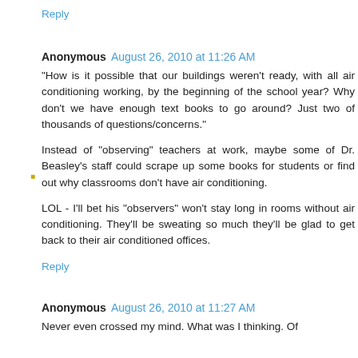Reply
Anonymous August 26, 2010 at 11:26 AM
"How is it possible that our buildings weren't ready, with all air conditioning working, by the beginning of the school year? Why don't we have enough text books to go around? Just two of thousands of questions/concerns."

Instead of "observing" teachers at work, maybe some of Dr. Beasley's staff could scrape up some books for students or find out why classrooms don't have air conditioning.

LOL - I'll bet his "observers" won't stay long in rooms without air conditioning. They'll be sweating so much they'll be glad to get back to their air conditioned offices.
Reply
Anonymous August 26, 2010 at 11:27 AM
Never even crossed my mind. What was I thinking. Of